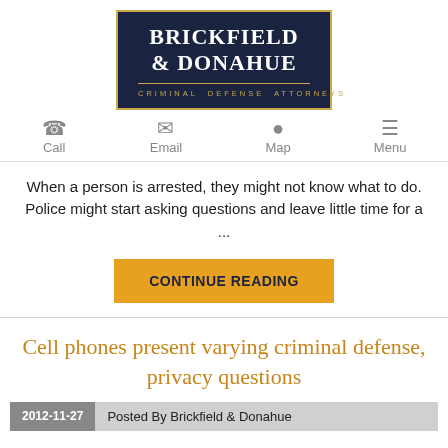[Figure (logo): Brickfield & Donahue Criminal Defense Attorneys logo — dark navy rectangle with gold border, white serif text, gold subtitle]
Call  Email  Map  Menu
When a person is arrested, they might not know what to do. Police might start asking questions and leave little time for a ...
CONTINUE READING
Cell phones present varying criminal defense, privacy questions
2012-11-27   Posted By Brickfield & Donahue